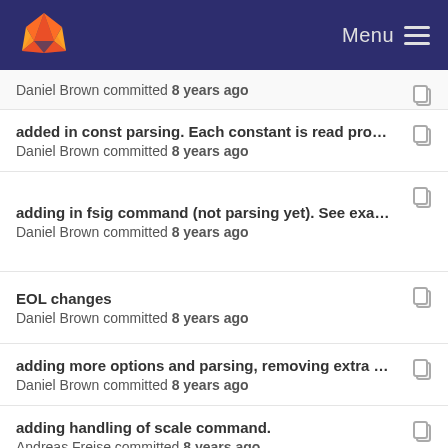Menu
Daniel Brown committed 8 years ago
added in const parsing. Each constant is read pro...
Daniel Brown committed 8 years ago
adding in fsig command (not parsing yet). See exa...
Daniel Brown committed 8 years ago
EOL changes
Daniel Brown committed 8 years ago
adding more options and parsing, removing extra ...
Daniel Brown committed 8 years ago
adding handling of scale command.
Andreas Freise committed 8 years ago
EOL changes
Daniel Brown committed 8 years ago